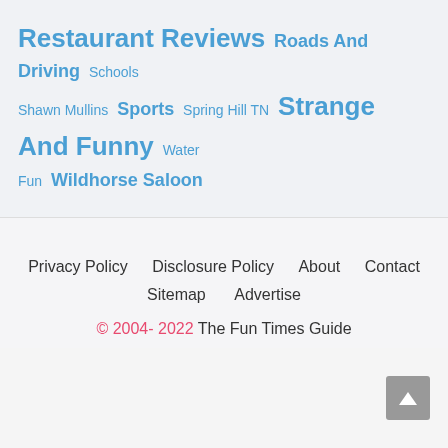Restaurant Reviews Roads And Driving Schools Shawn Mullins Sports Spring Hill TN Strange And Funny Water Fun Wildhorse Saloon
Privacy Policy | Disclosure Policy | About | Contact | Sitemap | Advertise | © 2004-2022 The Fun Times Guide